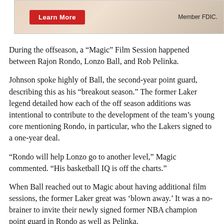[Figure (other): Advertisement banner with red 'Learn More' button and 'Member FDIC.' text on a patterned background]
During the offseason, a “Magic” Film Session happened between Rajon Rondo, Lonzo Ball, and Rob Pelinka.
Johnson spoke highly of Ball, the second-year point guard, describing this as his “breakout season.” The former Laker legend detailed how each of the off season additions was intentional to contribute to the development of the team’s young core mentioning Rondo, in particular, who the Lakers signed to a one-year deal.
“Rondo will help Lonzo go to another level,” Magic commented. “His basketball IQ is off the charts.”
When Ball reached out to Magic about having additional film sessions, the former Laker great was ‘blown away.’ It was a no-brainer to invite their newly signed former NBA champion point guard in Rondo as well as Pelinka.
“Me being 20 years old and sitting down with the best